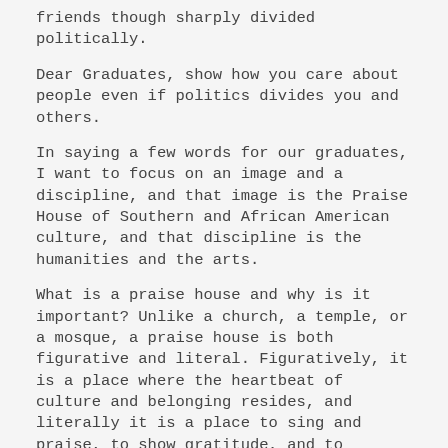friends though sharply divided politically.
Dear Graduates, show how you care about people even if politics divides you and others.
In saying a few words for our graduates, I want to focus on an image and a discipline, and that image is the Praise House of Southern and African American culture, and that discipline is the humanities and the arts.
What is a praise house and why is it important? Unlike a church, a temple, or a mosque, a praise house is both figurative and literal. Figuratively, it is a place where the heartbeat of culture and belonging resides, and literally it is a place to sing and praise, to show gratitude, and to release -- through the act of singing -- what has been pent up, sorrowful, raw, or wounded in the human soul. And to do it collectively. With other people. That is key. The relationship between the self and others in a praise house is a dynamic one, and theoretically,